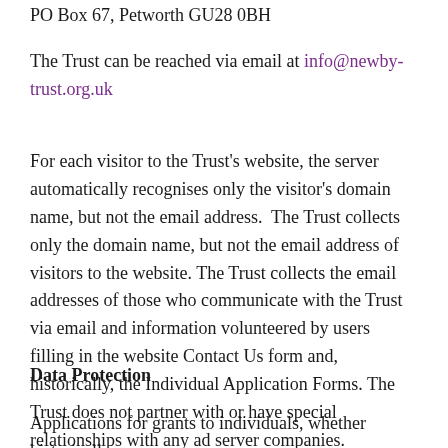PO Box 67, Petworth GU28 0BH
The Trust can be reached via email at info@newby-trust.org.uk
For each visitor to the Trust's website, the server automatically recognises only the visitor's domain name, but not the email address.  The Trust collects only the domain name, but not the email address of visitors to the website. The Trust collects the email addresses of those who communicate with the Trust via email and information volunteered by users filling in the website Contact Us form and, historically, the Individual Application Forms. The Trust does not partner with or have special relationships with any ad server companies.
Data Protection
Applications for grants to individuals, whether historically